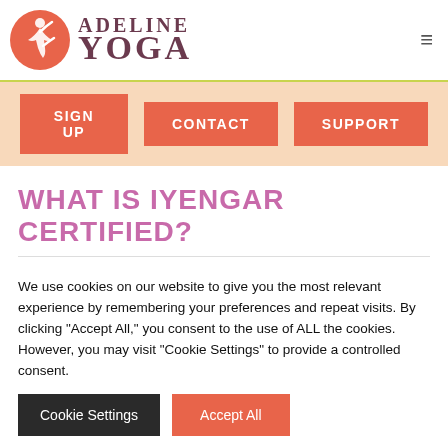[Figure (logo): Adeline Yoga logo with orange circle containing a yoga pose silhouette and text 'ADELINE YOGA' in dark mauve serif font]
SIGN UP
CONTACT
SUPPORT
WHAT IS IYENGAR CERTIFIED?
We use cookies on our website to give you the most relevant experience by remembering your preferences and repeat visits. By clicking "Accept All," you consent to the use of ALL the cookies. However, you may visit "Cookie Settings" to provide a controlled consent.
Cookie Settings
Accept All